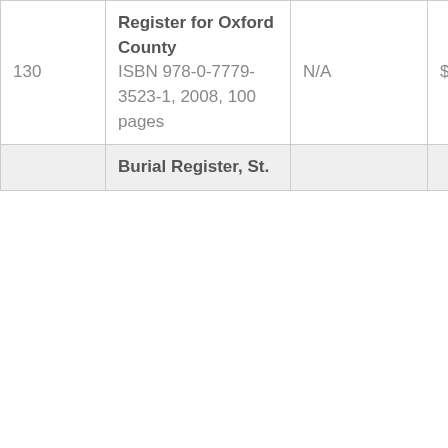| 130 | Register for Oxford County
ISBN 978-0-7779-3523-1, 2008, 100 pages | N/A | $10.00 |
|  | Burial Register, St. |  |  |